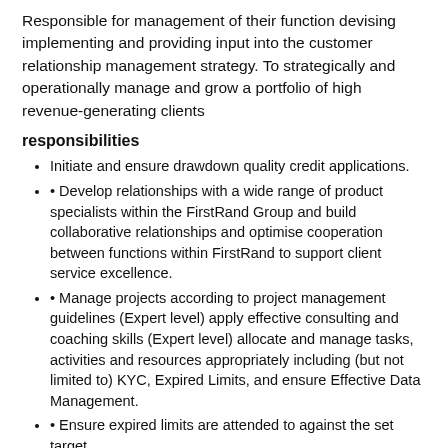Responsible for management of their function devising implementing and providing input into the customer relationship management strategy. To strategically and operationally manage and grow a portfolio of high revenue-generating clients
responsibilities
Initiate and ensure drawdown quality credit applications.
• Develop relationships with a wide range of product specialists within the FirstRand Group and build collaborative relationships and optimise cooperation between functions within FirstRand to support client service excellence.
• Manage projects according to project management guidelines (Expert level) apply effective consulting and coaching skills (Expert level) allocate and manage tasks, activities and resources appropriately including (but not limited to) KYC, Expired Limits, and ensure Effective Data Management.
• Ensure expired limits are attended to against the set target